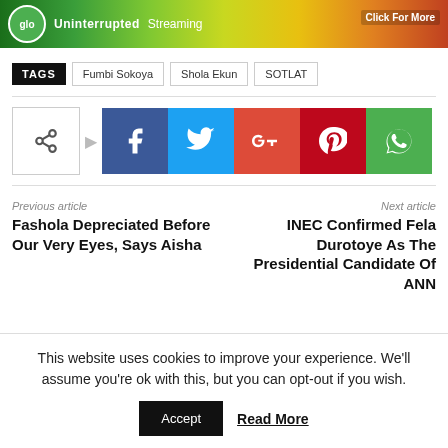[Figure (infographic): Glo advertisement banner with green gradient background showing Uninterrupted Streaming and Click For More text]
TAGS  Fumbi Sokoya  Shola Ekun  SOTLAT
[Figure (infographic): Social share buttons: share icon, Facebook, Twitter, Google+, Pinterest, WhatsApp]
Previous article
Fashola Depreciated Before Our Very Eyes, Says Aisha
Next article
INEC Confirmed Fela Durotoye As The Presidential Candidate Of ANN
This website uses cookies to improve your experience. We'll assume you're ok with this, but you can opt-out if you wish.
Accept  Read More